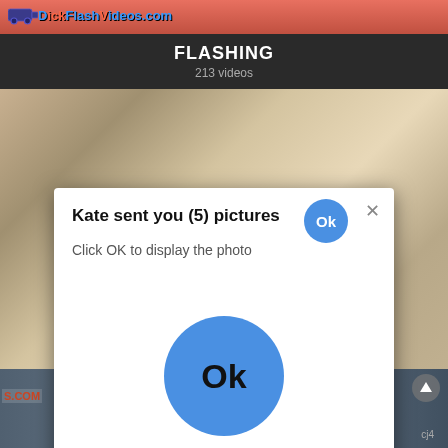[Figure (screenshot): Website header with logo 'DickFlashVideos.com' on a reddish background]
FLASHING
213 videos
[Figure (screenshot): Blurred adult video thumbnail showing two blonde women]
[Figure (screenshot): White modal popup dialog with title 'Kate sent you (5) pictures', subtitle 'Click OK to display the photo', a small blue Ok button in the top right, an X close button, and a large blue Ok button in the center]
[Figure (screenshot): Partial adult video thumbnail at the bottom of the page with partial watermark text]
cj4